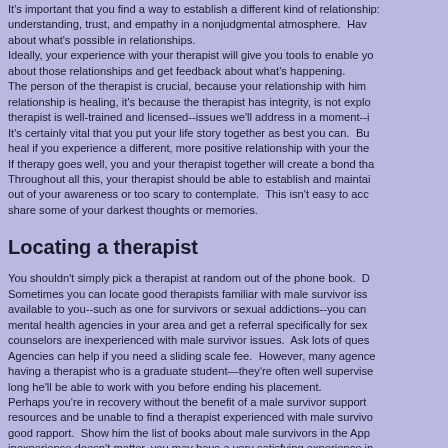It's important that you find a way to establish a different kind of relationship: understanding, trust, and empathy in a nonjudgmental atmosphere. Having about what's possible in relationships. Ideally, your experience with your therapist will give you tools to enable you about those relationships and get feedback about what's happening. The person of the therapist is crucial, because your relationship with him relationship is healing, it's because the therapist has integrity, is not exploitative therapist is well-trained and licensed--issues we'll address in a moment-- It's certainly vital that you put your life story together as best you can. But heal if you experience a different, more positive relationship with your the If therapy goes well, you and your therapist together will create a bond that Throughout all this, your therapist should be able to establish and maintain out of your awareness or too scary to contemplate. This isn't easy to accept share some of your darkest thoughts or memories.
Locating a therapist
You shouldn't simply pick a therapist at random out of the phone book. Sometimes you can locate good therapists familiar with male survivor issues available to you--such as one for survivors or sexual addictions--you can mental health agencies in your area and get a referral specifically for sexual counselors are inexperienced with male survivor issues. Ask lots of questions. Agencies can help if you need a sliding scale fee. However, many agencies having a therapist who is a graduate student—they're often well supervised long he'll be able to work with you before ending his placement. Perhaps you're in recovery without the benefit of a male survivor support resources and be unable to find a therapist experienced with male survivor good rapport. Show him the list of books about male survivors in the Appendix inexperience doesn't matter, you may have a very satisfying experience in Web sites helpful in locating therapists who deal with sexual abuse include